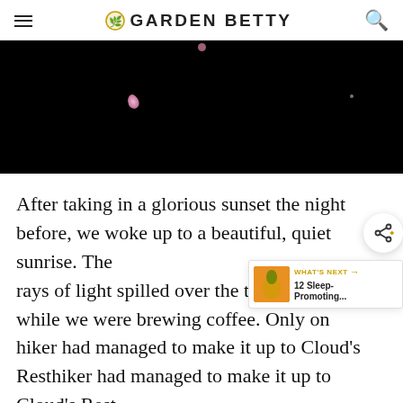GARDEN BETTY
[Figure (photo): Dark night sky photo with faint pink/purple flower petals or blossoms visible against black background]
After taking in a glorious sunset the night before, we woke up to a beautiful, quiet sunrise. The rays of light spilled over the top of Half Dome while we were brewing coffee. Only one other hiker had managed to make it up to Cloud's Rest for
[Figure (infographic): Advertisement banner: Donate Now button for Dave Thomas Foundation for Adoption, with person photo on left and Wendy's logo]